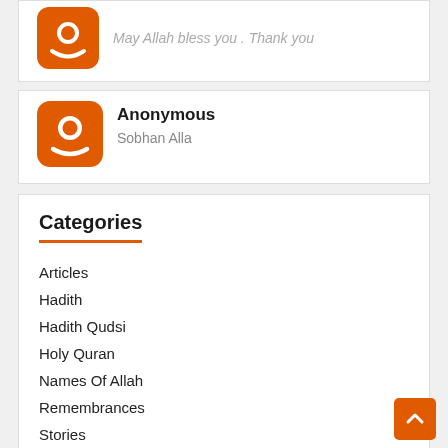May Allah bless you . Thank you
Anonymous
Sobhan Alla
Categories
Articles
Hadith
Hadith Qudsi
Holy Quran
Names Of Allah
Remembrances
Stories
Supplications